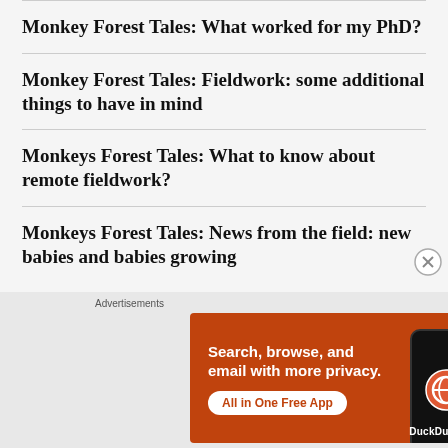Monkey Forest Tales: What worked for my PhD?
Monkey Forest Tales: Fieldwork: some additional things to have in mind
Monkeys Forest Tales: What to know about remote fieldwork?
Monkeys Forest Tales: News from the field: new babies and babies growing
[Figure (infographic): DuckDuckGo advertisement banner: orange background with text 'Search, browse, and email with more privacy. All in One Free App' and a dark smartphone showing the DuckDuckGo logo.]